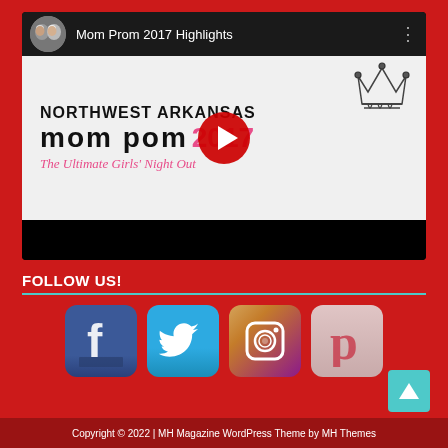[Figure (screenshot): YouTube video embed showing 'Mom Prom 2017 Highlights' with Northwest Arkansas Mom Prom 2017 thumbnail and play button]
FOLLOW US!
[Figure (illustration): Four social media icons: Facebook, Twitter, Instagram, Pinterest]
Copyright © 2022 | MH Magazine WordPress Theme by MH Themes